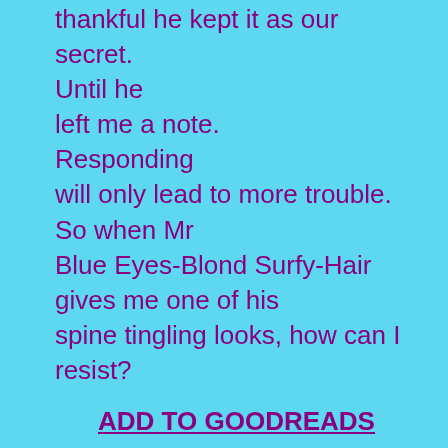thankful he kept it as our secret. Until he left me a note. Responding will only lead to more trouble. So when Mr Blue Eyes-Blond Surfy-Hair gives me one of his spine tingling looks, how can I resist?
ADD TO GOODREADS
Purchase Links
Universal Link: